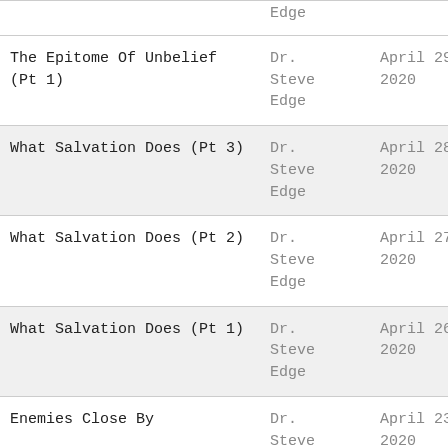| Title | Author | Date |
| --- | --- | --- |
| Edge | Dr. Steve Edge |  |
| The Epitome Of Unbelief (Pt 1) | Dr. Steve Edge | April 29, 2020 |
| What Salvation Does (Pt 3) | Dr. Steve Edge | April 28, 2020 |
| What Salvation Does (Pt 2) | Dr. Steve Edge | April 27, 2020 |
| What Salvation Does (Pt 1) | Dr. Steve Edge | April 26, 2020 |
| Enemies Close By | Dr. Steve Edge | April 23, 2020 |